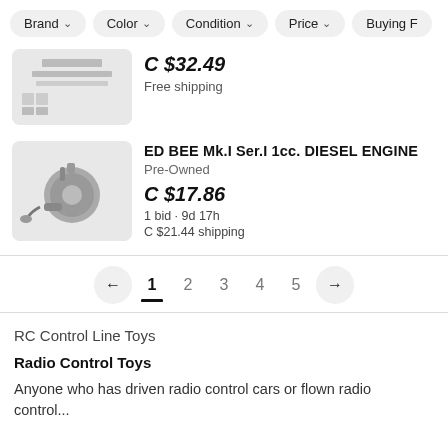Brand ∨  Color ∨  Condition ∨  Price ∨  Buying F
C $32.49
Free shipping
ED BEE Mk.I Ser.I 1cc. DIESEL ENGINE
Pre-Owned
C $17.86
1 bid · 9d 17h
C $21.44 shipping
← 1 2 3 4 5 →
RC Control Line Toys
Radio Control Toys
Anyone who has driven radio control cars or flown radio control...